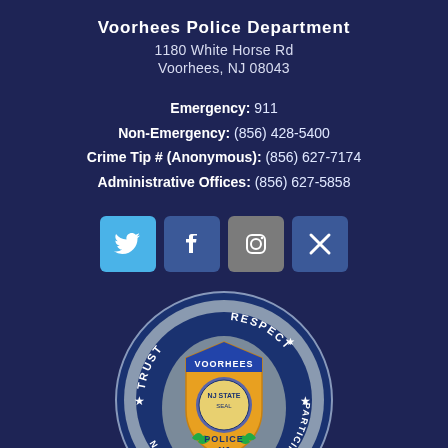Voorhees Police Department
1180 White Horse Rd
Voorhees, NJ 08043
Emergency: 911
Non-Emergency: (856) 428-5400
Crime Tip # (Anonymous): (856) 627-7174
Administrative Offices: (856) 627-5858
[Figure (infographic): Social media icons: Twitter (blue bird), Facebook (blue f), Instagram (gray camera), X (blue X)]
[Figure (logo): Voorhees Police Department badge/seal. Circular with text TRUST RESPECT COOPERATION PARTICIPATION. Center shows a shield with VOORHEES POLICE NJ and the New Jersey state seal, surrounded by green laurel wreaths. Blue and gold/yellow colors.]